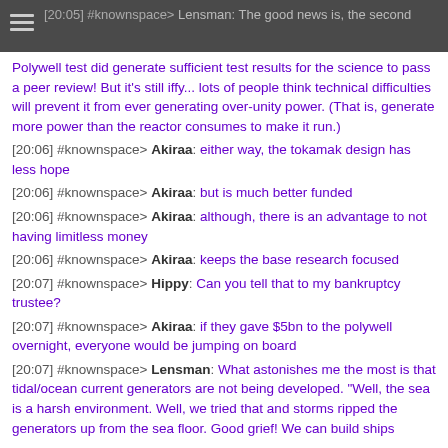[20:05] #knownspace> Lensman: The good news is, the second
Polywell test did generate sufficient test results for the science to pass a peer review! But it's still iffy... lots of people think technical difficulties will prevent it from ever generating over-unity power. (That is, generate more power than the reactor consumes to make it run.) [20:06] #knownspace> Akiraa: either way, the tokamak design has less hope
[20:06] #knownspace> Akiraa: but is much better funded
[20:06] #knownspace> Akiraa: although, there is an advantage to not having limitless money
[20:06] #knownspace> Akiraa: keeps the base research focused
[20:07] #knownspace> Hippy: Can you tell that to my bankruptcy trustee?
[20:07] #knownspace> Akiraa: if they gave $5bn to the polywell overnight, everyone would be jumping on board
[20:07] #knownspace> Lensman: What astonishes me the most is that tidal/ocean current generators are not being developed. "Well, the sea is a harsh environment. Well, we tried that and storms ripped the generators up from the sea floor. Good grief! We can build ships